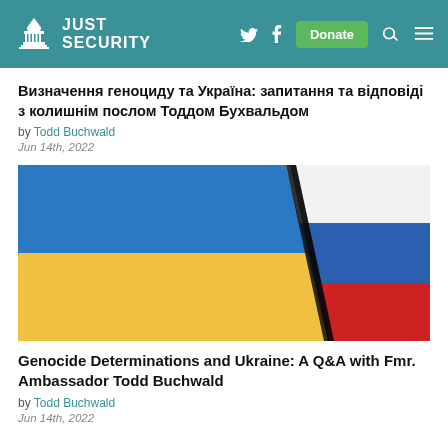JUST SECURITY
Визначення геноциду та Україна: запитання та відповіді з колишнім послом Тоддом Бухвальдом
by Todd Buchwald
Jun 14th, 2022
[Figure (photo): Ukrainian and Russian flags painted on cracked concrete, split by a crack running diagonally between them]
Genocide Determinations and Ukraine: A Q&A with Fmr. Ambassador Todd Buchwald
by Todd Buchwald
Jun 14th, 2022